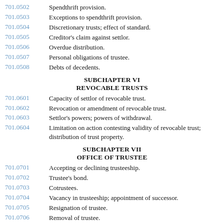701.0502 Spendthrift provision.
701.0503 Exceptions to spendthrift provision.
701.0504 Discretionary trusts; effect of standard.
701.0505 Creditor's claim against settlor.
701.0506 Overdue distribution.
701.0507 Personal obligations of trustee.
701.0508 Debts of decedents.
SUBCHAPTER VI
REVOCABLE TRUSTS
701.0601 Capacity of settlor of revocable trust.
701.0602 Revocation or amendment of revocable trust.
701.0603 Settlor's powers; powers of withdrawal.
701.0604 Limitation on action contesting validity of revocable trust; distribution of trust property.
SUBCHAPTER VII
OFFICE OF TRUSTEE
701.0701 Accepting or declining trusteeship.
701.0702 Trustee's bond.
701.0703 Cotrustees.
701.0704 Vacancy in trusteeship; appointment of successor.
701.0705 Resignation of trustee.
701.0706 Removal of trustee.
701.0707 Delivery of property by former trustee.
701.0708 Compensation of trustee.